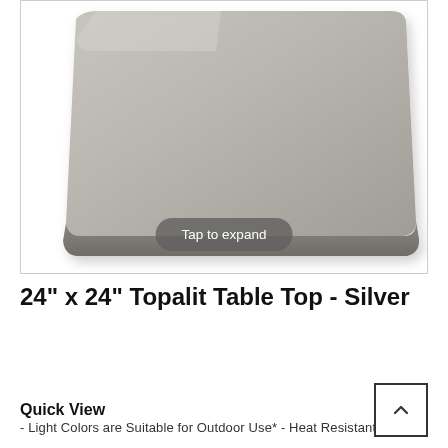[Figure (photo): A square silver/gray Topalit table top viewed from a slight angle, showing rounded corners. The product is shown against a white background. A 'Tap to expand' button overlay is visible at the bottom center of the image.]
24" x 24" Topalit Table Top - Silver
Quick View
- Light Colors are Suitable for Outdoor Use* - Heat Resistant